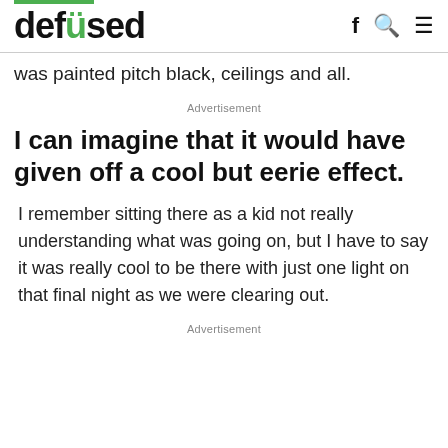defused
was painted pitch black, ceilings and all.
Advertisement
I can imagine that it would have given off a cool but eerie effect.
I remember sitting there as a kid not really understanding what was going on, but I have to say it was really cool to be there with just one light on that final night as we were clearing out.
Advertisement